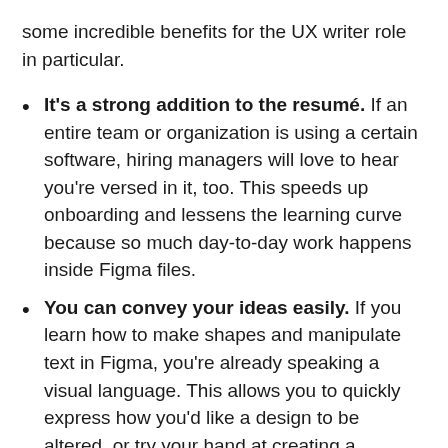some incredible benefits for the UX writer role in particular.
It's a strong addition to the resumé. If an entire team or organization is using a certain software, hiring managers will love to hear you're versed in it, too. This speeds up onboarding and lessens the learning curve because so much day-to-day work happens inside Figma files.
You can convey your ideas easily. If you learn how to make shapes and manipulate text in Figma, you're already speaking a visual language. This allows you to quickly express how you'd like a design to be altered, or try your hand at creating a wireframe from scratch. This is what really empowers content to be considered earlier on in the process, rather than an afterthought to be added into the design later on.
Less gets lost in translation. Rather than working across Google Docs and design files, Figma allows